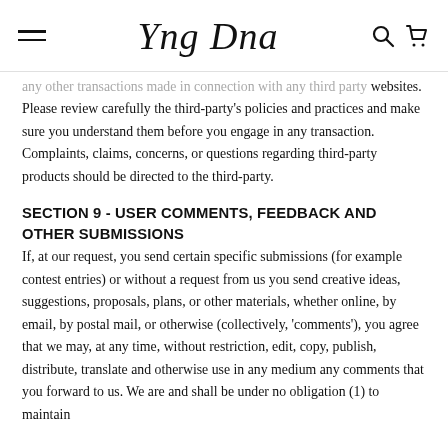Yng Dna [logo with hamburger menu and search/cart icons]
any other transactions made in connection with any third party websites. Please review carefully the third-party's policies and practices and make sure you understand them before you engage in any transaction. Complaints, claims, concerns, or questions regarding third-party products should be directed to the third-party.
SECTION 9 - USER COMMENTS, FEEDBACK AND OTHER SUBMISSIONS
If, at our request, you send certain specific submissions (for example contest entries) or without a request from us you send creative ideas, suggestions, proposals, plans, or other materials, whether online, by email, by postal mail, or otherwise (collectively, 'comments'), you agree that we may, at any time, without restriction, edit, copy, publish, distribute, translate and otherwise use in any medium any comments that you forward to us. We are and shall be under no obligation (1) to maintain